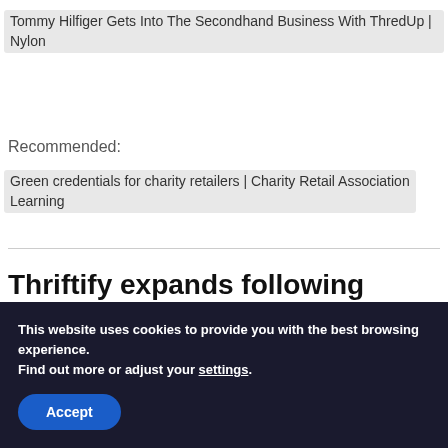Tommy Hilfiger Gets Into The Secondhand Business With ThredUp | Nylon
Recommended:
Green credentials for charity retailers | Charity Retail Learning
Thriftify expands following
This website uses cookies to provide you with the best browsing experience.
Find out more or adjust your settings.